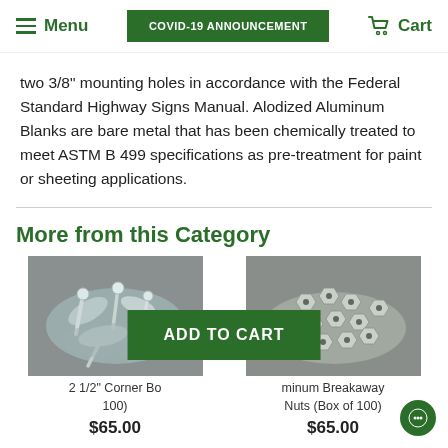Menu | COVID-19 ANNOUNCEMENT | Cart
two 3/8" mounting holes in accordance with the Federal Standard Highway Signs Manual. Alodized Aluminum Blanks are bare metal that has been chemically treated to meet ASTM B 499 specifications as pre-treatment for paint or sheeting applications.
More from this Category
[Figure (photo): Pile of metal corner bolts/hardware (silver metal fasteners)]
[Figure (photo): Pile of aluminum breakaway nuts (silver circular nuts, box of 100)]
2 1/2" Corner Bo... 100)
Aluminum Breakaway Nuts (Box of 100)
$65.00
$65.00
ADD TO CART